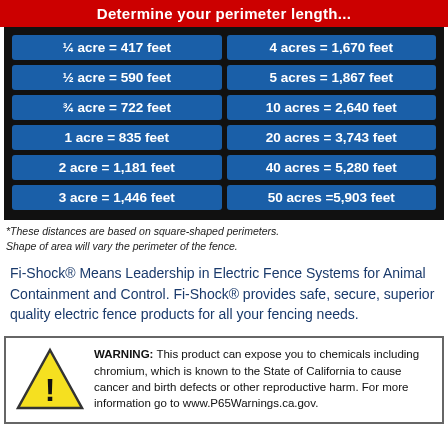Determine your perimeter length...
| ¼ acre = 417 feet | 4 acres = 1,670 feet |
| ½ acre = 590 feet | 5 acres = 1,867 feet |
| ¾ acre = 722 feet | 10 acres = 2,640 feet |
| 1 acre = 835 feet | 20 acres = 3,743 feet |
| 2 acre = 1,181 feet | 40 acres = 5,280 feet |
| 3 acre = 1,446 feet | 50 acres =5,903 feet |
*These distances are based on square-shaped perimeters. Shape of area will vary the perimeter of the fence.
Fi-Shock® Means Leadership in Electric Fence Systems for Animal Containment and Control. Fi-Shock® provides safe, secure, superior quality electric fence products for all your fencing needs.
WARNING: This product can expose you to chemicals including chromium, which is known to the State of California to cause cancer and birth defects or other reproductive harm. For more information go to www.P65Warnings.ca.gov.